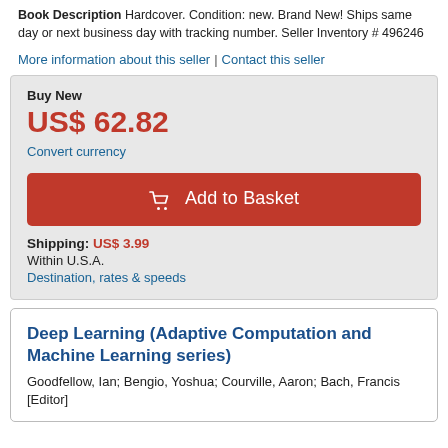Book Description Hardcover. Condition: new. Brand New! Ships same day or next business day with tracking number. Seller Inventory # 496246
More information about this seller | Contact this seller
Buy New
US$ 62.82
Convert currency
Add to Basket
Shipping: US$ 3.99
Within U.S.A.
Destination, rates & speeds
Deep Learning (Adaptive Computation and Machine Learning series)
Goodfellow, Ian; Bengio, Yoshua; Courville, Aaron; Bach, Francis [Editor]